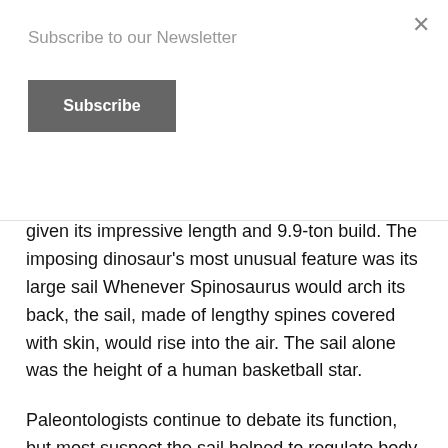Subscribe to our Newsletter
given its impressive length and 9.9-ton build. The imposing dinosaur's most unusual feature was its large sail Whenever Spinosaurus would arch its back, the sail, made of lengthy spines covered with skin, would rise into the air. The sail alone was the height of a human basketball star.
Paleontologists continue to debate its function, but most suspect the sail helped to regulate body temperature and was used to woo the opposite sex or to scare off competing males. It's no wonder Spinosaurus often makes film appearances, since this dinosaur flashed a million-dollar “smile.” While most carnivorous dinos had curved teeth, the teeth of Spinosaurus were straight and probably functioned